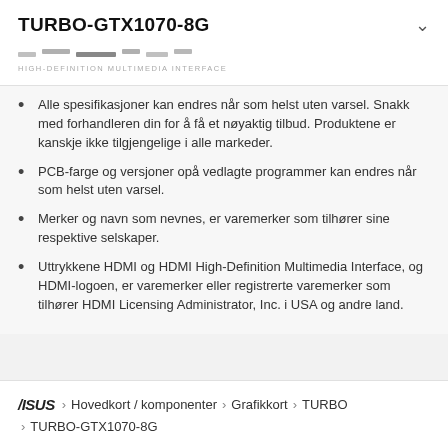TURBO-GTX1070-8G
[Figure (logo): HDMI logo with dashes and HIGH-DEFINITION MULTIMEDIA INTERFACE label]
Alle spesifikasjoner kan endres når som helst uten varsel. Snakk med forhandleren din for å få et nøyaktig tilbud. Produktene er kanskje ikke tilgjengelige i alle markeder.
PCB-farge og versjoner opå vedlagte programmer kan endres når som helst uten varsel.
Merker og navn som nevnes, er varemerker som tilhører sine respektive selskaper.
Uttrykkene HDMI og HDMI High-Definition Multimedia Interface, og HDMI-logoen, er varemerker eller registrerte varemerker som tilhører HDMI Licensing Administrator, Inc. i USA og andre land.
ASUS > Hovedkort / komponenter > Grafikkort > TURBO > TURBO-GTX1070-8G